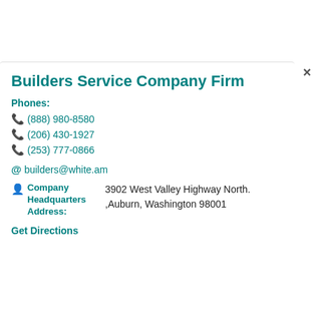Builders Service Company Firm
Phones:
(888) 980-8580
(206) 430-1927
(253) 777-0866
builders@white.am
Company Headquarters Address: 3902 West Valley Highway North. ,Auburn, Washington 98001
Get Directions